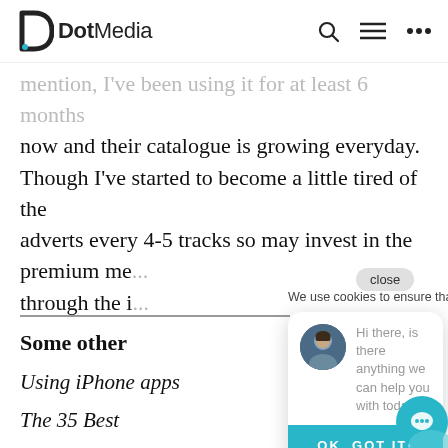DotMedia
mention, I've been using it for at least 6 months now and their catalogue is growing everyday. Though I've started to become a little tired of the adverts every 4-5 tracks so may invest in the premium me... through the i...
Some other
Using iPhone apps
The 35 Best
[Figure (screenshot): Cookie consent popup and chat widget overlay showing 'close' button, 'We use cookies to ensure that we' text, chat avatar with message 'Hi there, is there anything we can help you with today?', and 'OK, GOT IT!' teal button]